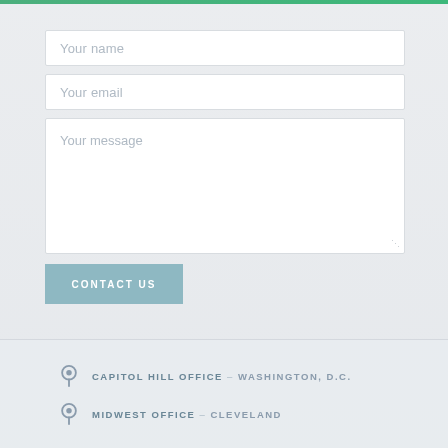[Figure (other): Green horizontal top bar accent line]
Your name
Your email
Your message
CONTACT US
CAPITOL HILL OFFICE – WASHINGTON, D.C.
MIDWEST OFFICE – CLEVELAND